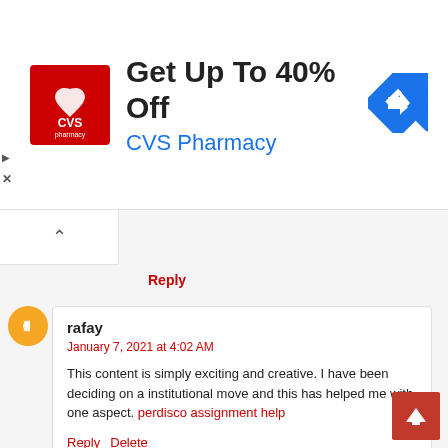[Figure (other): CVS Pharmacy advertisement banner: red CVS Pharmacy logo on left, bold text 'Get Up To 40% Off' and blue 'CVS Pharmacy' subtitle, blue diamond arrow icon on right]
Reply
rafay
January 7, 2021 at 4:02 AM
This content is simply exciting and creative. I have been deciding on a institutional move and this has helped me with one aspect. perdisco assignment help
Reply  Delete
▾ Replies
Klipingqu  author